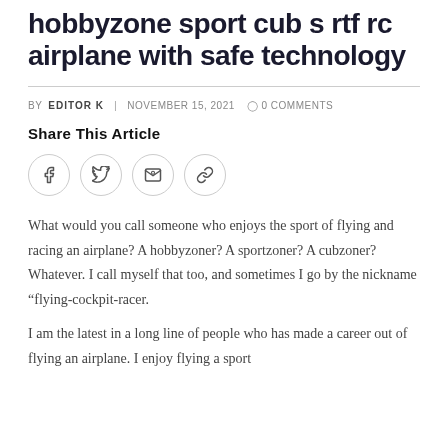hobbyzone sport cub s rtf rc airplane with safe technology
BY EDITOR K   NOVEMBER 15, 2021   0 COMMENTS
Share This Article
[Figure (infographic): Four social sharing icon buttons in circles: Facebook (f), Twitter (bird), Email (envelope), Link (chain link)]
What would you call someone who enjoys the sport of flying and racing an airplane? A hobbyzoner? A sportzoner? A cubzoner? Whatever. I call myself that too, and sometimes I go by the nickname “flying-cockpit-racer.
I am the latest in a long line of people who has made a career out of flying an airplane. I enjoy flying a sport